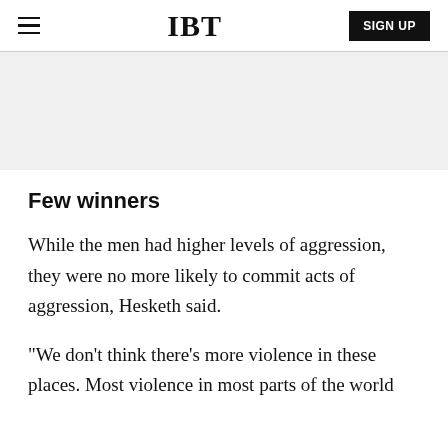IBT  SIGN UP
[Figure (other): Grey advertisement banner area]
Few winners
While the men had higher levels of aggression, they were no more likely to commit acts of aggression, Hesketh said.
"We don't think there's more violence in these places. Most violence in most parts of the world